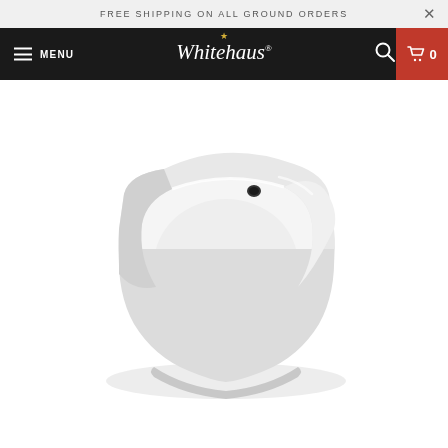FREE SHIPPING ON ALL GROUND ORDERS
[Figure (logo): Whitehaus website navigation bar with hamburger menu, Whitehaus script logo with crown, search icon, and red cart icon showing 0 items]
[Figure (photo): White ceramic corner wall-mount bathroom sink with oval basin and single faucet hole, angled three-quarter view showing rounded triangular shape]